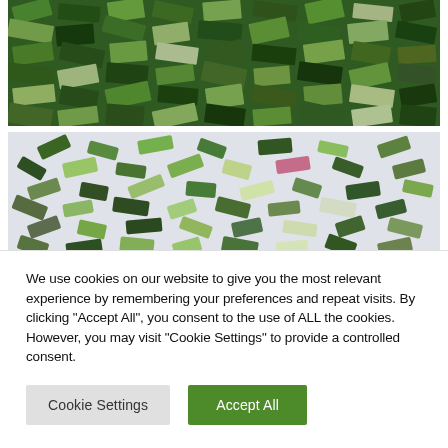[Figure (photo): Close-up photo of many green tourmaline gemstone baguettes arranged densely together, showing various shades of green, teal, and clear crystals]
[Figure (photo): Photo of assorted tourmaline gemstone baguettes scattered on a white surface, showing green, teal, pink, and dark colored stones]
We use cookies on our website to give you the most relevant experience by remembering your preferences and repeat visits. By clicking “Accept All”, you consent to the use of ALL the cookies. However, you may visit “Cookie Settings” to provide a controlled consent.
Cookie Settings
Accept All